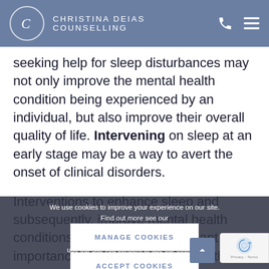CHRISTINA DEIAS COUNSELLING
seeking help for sleep disturbances may not only improve the mental health condition being experienced by an individual, but also improve their overall quality of life. Intervening on sleep at an early stage may be a way to avert the onset of clinical disorders.
Interventions to enhance sleep and subsequently, improve mental health conditions, are clearly of significant importance to people struggling with their mental health. These may include talk therapies such as counselling, to help explore patterns of thinking that could be contributing to keeping someone awake and develop new ways to prevent negative and disruptive patterns. If someone is seeing a psychiatrist about their mental health, they can discuss possible medication to help sleep and the benefici... Improving sleep anytime can also be hel...
We use cookies to improve your experience on our site. Find out more see our Cookie Policy. By continuing to use our site you consent to use our cookies.
MANAGE COOKIES
ACCEPT COOKIES